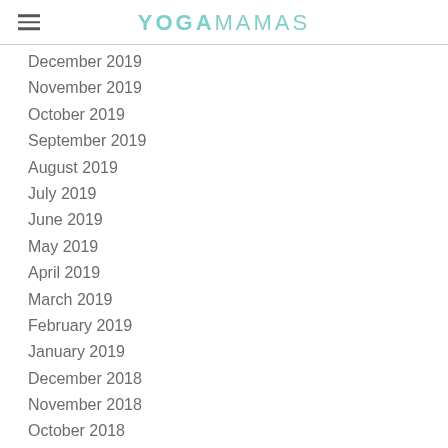YOGAMAMAS
December 2019
November 2019
October 2019
September 2019
August 2019
July 2019
June 2019
May 2019
April 2019
March 2019
February 2019
January 2019
December 2018
November 2018
October 2018
September 2018
August 2018